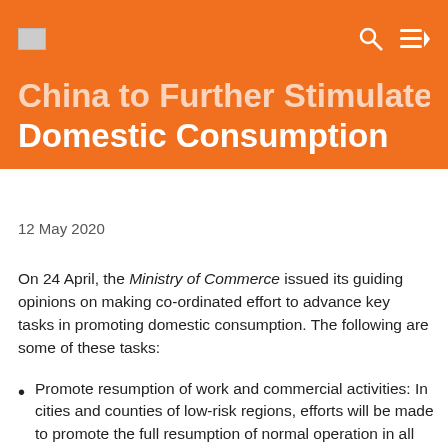China to Further Stimulate Domestic Consumption
China to Further Stimulate Domestic Consumption
12 May 2020
On 24 April, the Ministry of Commerce issued its guiding opinions on making co-ordinated effort to advance key tasks in promoting domestic consumption. The following are some of these tasks:
Promote resumption of work and commercial activities: In cities and counties of low-risk regions, efforts will be made to promote the full resumption of normal operation in all kinds of shopping malls and markets and domestic services.
Solve problems facing work resumption: "One-stop service platforms" involving multiple departments will be